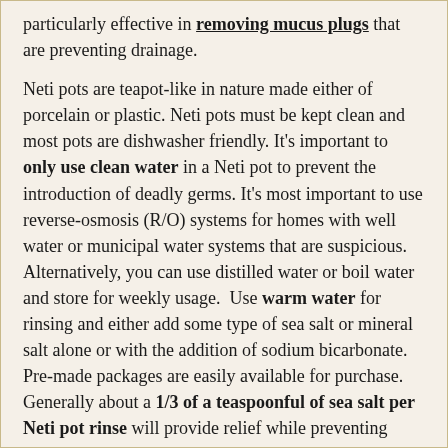particularly effective in removing mucus plugs that are preventing drainage.
Neti pots are teapot-like in nature made either of porcelain or plastic. Neti pots must be kept clean and most pots are dishwasher friendly. It's important to only use clean water in a Neti pot to prevent the introduction of deadly germs. It's most important to use reverse-osmosis (R/O) systems for homes with well water or municipal water systems that are suspicious. Alternatively, you can use distilled water or boil water and store for weekly usage. Use warm water for rinsing and either add some type of sea salt or mineral salt alone or with the addition of sodium bicarbonate. Pre-made packages are easily available for purchase. Generally about a 1/3 of a teaspoonful of sea salt per Neti pot rinse will provide relief while preventing nasal burning. Essential oils such as the old Alkalol formula or a product from a company called Baraka can also be added to the Neti Pot rinse to aid with nasal drainage. Be patient when first using a Neti pot because it takes time to perfect the rinse procedure.
A daily exercise program will increase one's circulation